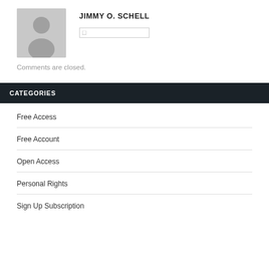JIMMY O. SCHELL
[Figure (illustration): Gray placeholder avatar image with silhouette of a person]
Comments are closed.
CATEGORIES
Free Access
Free Account
Open Access
Personal Rights
Sign Up Subscription